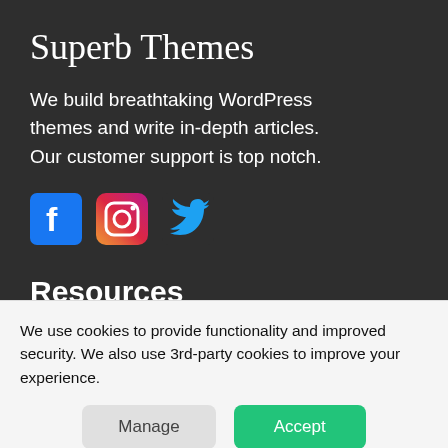Superb Themes
We build breathtaking WordPress themes and write in-depth articles. Our customer support is top notch.
[Figure (illustration): Social media icons: Facebook (blue square with 'f'), Instagram (colorful camera icon), Twitter (cyan bird icon)]
Resources
Privacy Policy
Terms of Service
We use cookies to provide functionality and improved security. We also use 3rd-party cookies to improve your experience.
Manage | Accept